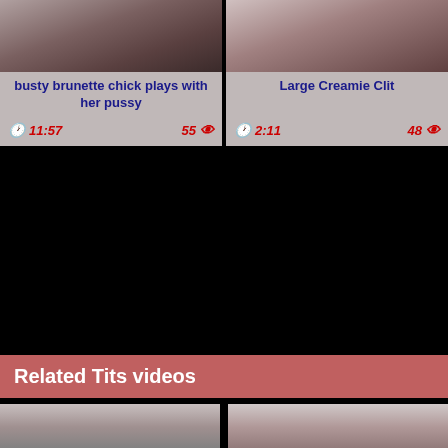[Figure (screenshot): Video thumbnail left - busty brunette chick plays with her pussy]
busty brunette chick plays with her pussy
11:57  55
[Figure (screenshot): Video thumbnail right - Large Creamie Clit]
Large Creamie Clit
2:11  48
Related Tits videos
[Figure (screenshot): Bottom left video thumbnail]
[Figure (screenshot): Bottom right video thumbnail]